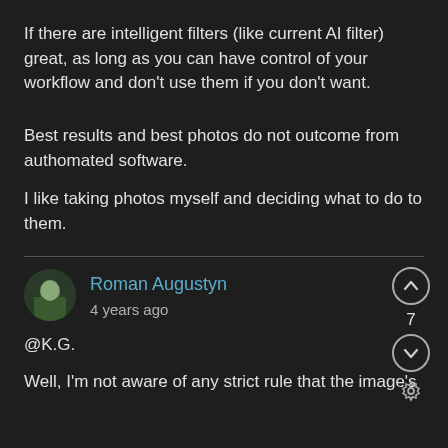If there are intelligent filters (like current AI filter) great, as long as you can have control of your workflow and don't use them if you don't want.
Best results and best photos do not outcome from authomated software.
I like taking photos myself and deciding what to do to them.
Roman Augustyn
4 years ago
@K.G.
Well, I'm not aware of any strict rule that the image's